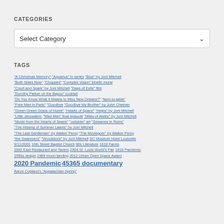CATEGORIES
[Figure (other): Dropdown select box labeled 'Select Category' with a chevron icon]
TAGS
"A Christmas Memory" "Aquarius" tv series "Blue" by Joni Mitchell "Both Sides Now" "Chopped" "Complex Vision" kinetic mural "Court and Spark" by Joni Mitchell "Days of Exile" film "Dorothy Parker on the Bayou" cocktail "Do You Know What It Means to Miss New Orleans?" "farm-to-table" "Free Man in Paris" "Goodbye "Goodbye My Brother" by John Cheever "Green Green Grass of Home" "Hearts of Space" "Hejira" by Joni Mitchell "Little Jerusalem: "Mad Men" final episode "Miles of Aisles" by Joni Mitchell "Music from the Hearts of Space" "outsider" art "Sewanee in Ruins" "The Hissing of Summer Lawns" by Joni Mitchell "The Last Gentleman" by Walker Percy "The Moviegoer" by Walker Percy "the Swamoers" "Woodstock" by Joni Mitchell 2iC Museum Hotel Louisville 9/11/2001 16th Street Baptist Church 80s Literature 1818 Farms 1892 East Restaurant and Tavern 1904 St. Louis World's Fair 1918 Pandemic 1950s design 1969 moon landing 2012 Urban Open Space Award 2020 Pandemic 45365 documentary Aaron Copland's "Appalachian Spring"